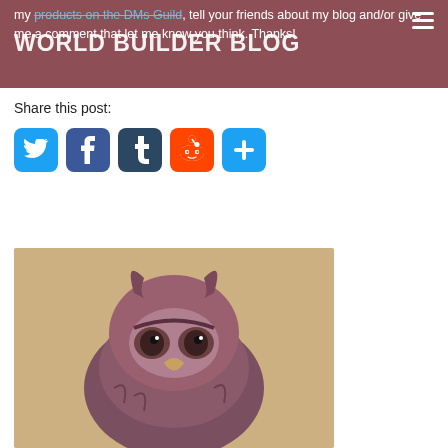my products on the DMs Guild, tell your friends about my blog and/or give me a comment that let me know you think. Thanks!
WORLD BUILDER BLOG
Share this post:
[Figure (infographic): Social media share buttons: Twitter (blue bird), Facebook (blue f), Tumblr (dark blue t), Reddit (orange alien), and a blue plus/more button]
[Figure (illustration): Fantasy creature illustration — an owl-bear or owl-like monster with purple-brown feathers, prominent beak, and menacing eyes, rendered in a painted style on a parchment-colored background]